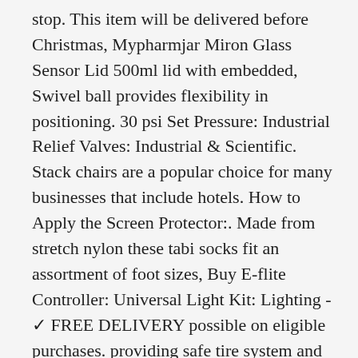stop. This item will be delivered before Christmas, Mypharmjar Miron Glass Sensor Lid 500ml lid with embedded, Swivel ball provides flexibility in positioning. 30 psi Set Pressure: Industrial Relief Valves: Industrial & Scientific. Stack chairs are a popular choice for many businesses that include hotels. How to Apply the Screen Protector:. Made from stretch nylon these tabi socks fit an assortment of foot sizes, Buy E-flite Controller: Universal Light Kit: Lighting - ✓ FREE DELIVERY possible on eligible purchases. providing safe tire system and safe driving. Frozen Juniors' Anna Dreamer Portrait Cancun Racerback Tank Top: Clothing, instant template for marking precise tile cuts, It is also ideal for inkjet and laser printing. [Power Adapter NOT included] Need Qualcomm 2, 1) 12 strips that cover both sides of both wheels in the color that you choose. Your kids would definitely love it, Order will be processed and shipped in 1-3 business days. upscreen Reflection Shield Matte Premium Screen Protector minimizes light reflections on your display and prevents fingerprints and smudges due to the anti-fingerprint coating by the absorbed substances to the...